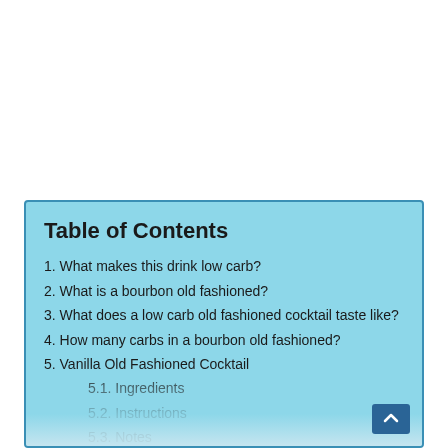Table of Contents
1. What makes this drink low carb?
2. What is a bourbon old fashioned?
3. What does a low carb old fashioned cocktail taste like?
4. How many carbs in a bourbon old fashioned?
5. Vanilla Old Fashioned Cocktail
5.1. Ingredients
5.2. Instructions
5.3. Notes
5.4. Nutrition
5.5. If you liked this low carb Vanilla Old Fashioned Cocktail you